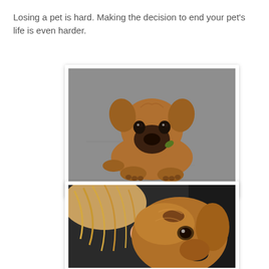Losing a pet is hard. Making the decision to end your pet's life is even harder.
[Figure (photo): A brown puppy lying on a gray concrete surface, looking directly at the camera, with a small green leaf near its chin.]
[Figure (photo): Close-up of a golden/brown dog resting its head near a person with blonde hair, with a dark background.]